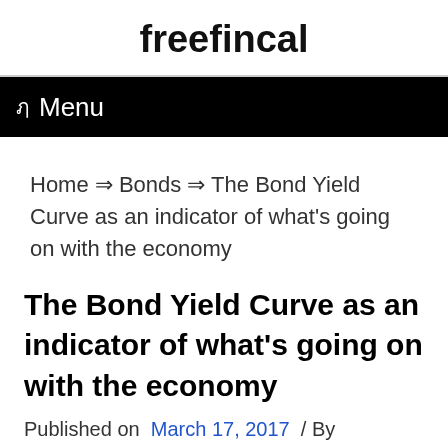freefincal
ฦ  Menu
Home ⇒ Bonds ⇒ The Bond Yield Curve as an indicator of what's going on with the economy
The Bond Yield Curve as an indicator of what's going on with the economy
Published on  March 17, 2017  / By